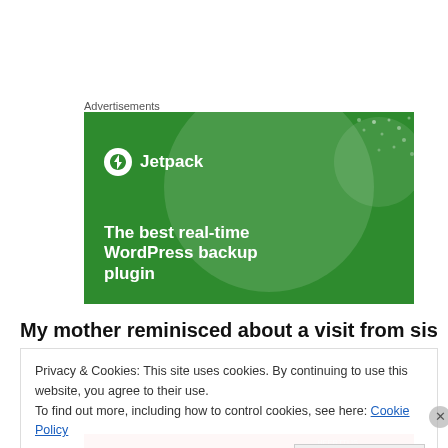Advertisements
[Figure (screenshot): Jetpack WordPress plugin advertisement banner with green background. Shows Jetpack logo (lightning bolt icon in white circle) and text 'Jetpack' in white. Large tagline: 'The best real-time WordPress backup plugin' in white bold text. Decorative circles and dots in lighter green.]
My mother reminisced about a visit from sisters Florence
Privacy & Cookies: This site uses cookies. By continuing to use this website, you agree to their use.
To find out more, including how to control cookies, see here: Cookie Policy
Close and accept